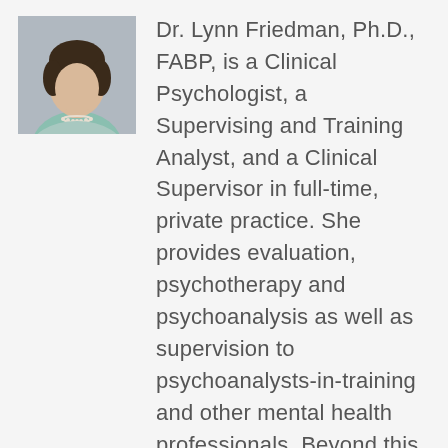[Figure (photo): Portrait photo of Dr. Lynn Friedman, a woman with light skin and dark hair, wearing a light blue top and pearl necklace, photographed from the shoulders up against a neutral background.]
Dr. Lynn Friedman, Ph.D., FABP, is a Clinical Psychologist, a Supervising and Training Analyst, and a Clinical Supervisor in full-time, private practice. She provides evaluation, psychotherapy and psychoanalysis as well as supervision to psychoanalysts-in-training and other mental health professionals. Beyond this, she is a board certified, psychoanalyst who teaches at Johns Hopkins University and the